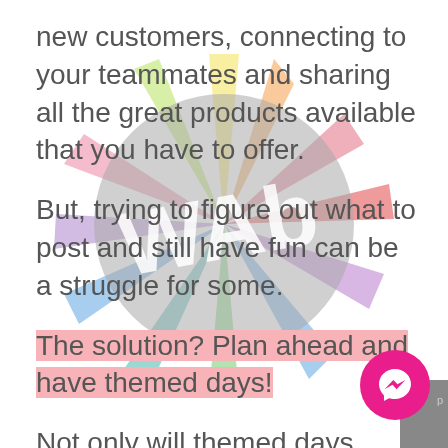new customers, connecting to your teammates and sharing all the great products available that you have to offer.
But, trying to figure out what to post and still have fun can be a struggle for some.
The solution? Plan ahead and have themed days!
Not only will themed days work for Facebook, but it can work with any of your social media outlets like Instagram, Pinterest and Twitter.
Here are some examples for you to try today!